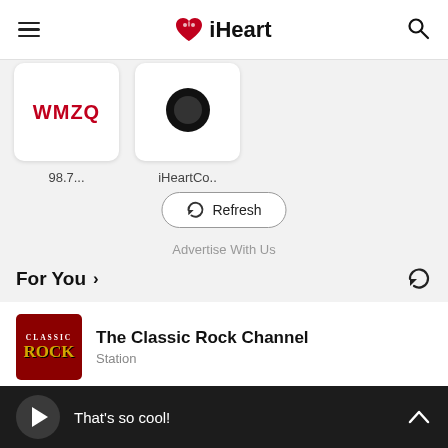iHeart
[Figure (screenshot): Partial radio station card showing WMZQ logo text in red]
98.7...
[Figure (screenshot): Partial radio station card with dark circular logo]
iHeartCo..
Refresh
Advertise With Us
For You >
The Classic Rock Channel
Station
That's so cool!